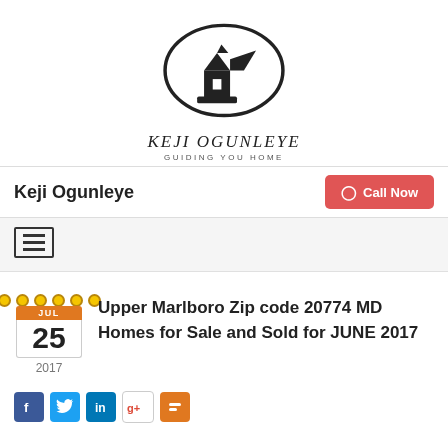[Figure (logo): Keji Ogunleye real estate logo: black silhouette of a house/lighthouse inside an oval arc, with text 'KEJI OGUNLEYE' and tagline 'GUIDING YOU HOME' below]
Keji Ogunleye
Call Now
[Figure (other): Hamburger menu icon (three horizontal lines inside a square border)]
[Figure (other): Calendar icon showing JUL 25 2017]
Upper Marlboro Zip code 20774 MD Homes for Sale and Sold for JUNE 2017
[Figure (other): Social media icons: Facebook, Twitter, LinkedIn, Google+, Blogger]